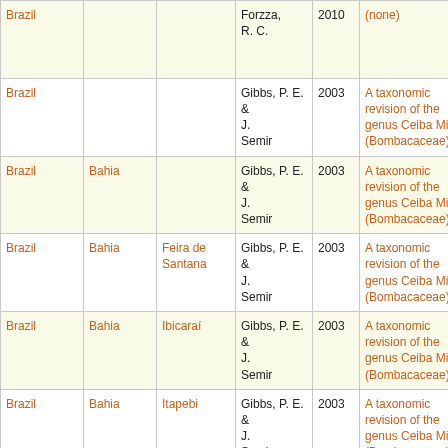| Country | State/Province | County/Municipality | Author | Year | Title | Publication |
| --- | --- | --- | --- | --- | --- | --- |
| Brazil |  |  | Forzza, R. C. | 2010 | (none) | Lista de espécies Flora do Brasil |
| Brazil |  |  | Gibbs, P. E. & J. Semir | 2003 | A taxonomic revision of the genus Ceiba Mill. (Bombacaceae) | Anales Jard. B. Madrid |
| Brazil | Bahia |  | Gibbs, P. E. & J. Semir | 2003 | A taxonomic revision of the genus Ceiba Mill. (Bombacaceae) | Anales Jard. B. Madrid |
| Brazil | Bahia | Feira de Santana | Gibbs, P. E. & J. Semir | 2003 | A taxonomic revision of the genus Ceiba Mill. (Bombacaceae) | Anales Jard. B. Madrid |
| Brazil | Bahia | Ibicaraí | Gibbs, P. E. & J. Semir | 2003 | A taxonomic revision of the genus Ceiba Mill. (Bombacaceae) | Anales Jard. B. Madrid |
| Brazil | Bahia | Itapebi | Gibbs, P. E. & J. Semir | 2003 | A taxonomic revision of the genus Ceiba Mill. (Bombacaceae) | Anales Jard. B. Madrid |